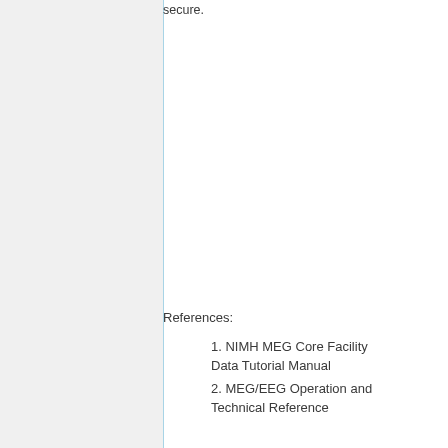secure.
References:
1. NIMH MEG Core Facility Data Tutorial Manual
2. MEG/EEG Operation and Technical Reference